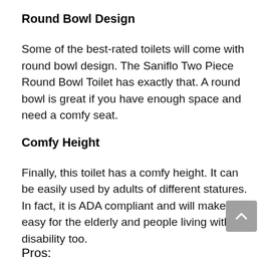Round Bowl Design
Some of the best-rated toilets will come with round bowl design. The Saniflo Two Piece Round Bowl Toilet has exactly that. A round bowl is great if you have enough space and need a comfy seat.
Comfy Height
Finally, this toilet has a comfy height. It can be easily used by adults of different statures. In fact, it is ADA compliant and will make it easy for the elderly and people living with disability too.
Pros: